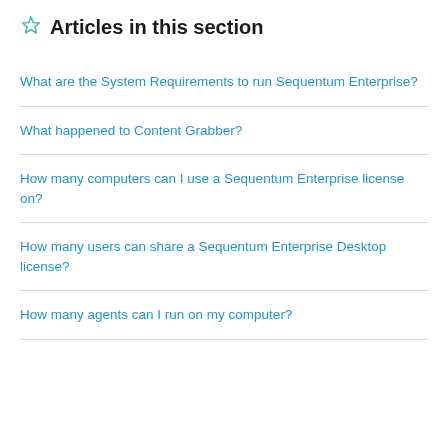Articles in this section
What are the System Requirements to run Sequentum Enterprise?
What happened to Content Grabber?
How many computers can I use a Sequentum Enterprise license on?
How many users can share a Sequentum Enterprise Desktop license?
How many agents can I run on my computer?